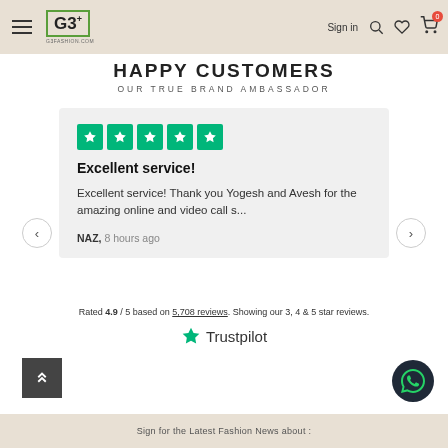G3+ G3FASHION.COM | Sign in
HAPPY CUSTOMERS
OUR TRUE BRAND AMBASSADOR
[Figure (screenshot): Trustpilot review card with 5 green stars, title 'Excellent service!', body text 'Excellent service! Thank you Yogesh and Avesh for the amazing online and video call s...', reviewer 'NAZ, 8 hours ago']
Rated 4.9 / 5 based on 5,708 reviews. Showing our 3, 4 & 5 star reviews.
[Figure (logo): Trustpilot logo with green star]
Sign for the Latest Fashion News about :